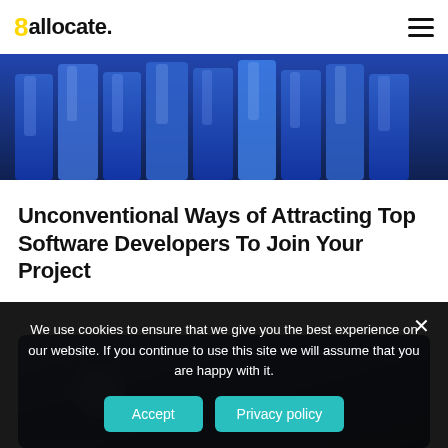8allocate.
[Figure (photo): Row of people standing side by side, wearing shiny blue clothing/suits, dimly lit with blue tones]
Unconventional Ways of Attracting Top Software Developers To Join Your Project
[Figure (photo): Partial view of a photo with blue/navy tones, partially obscured by cookie banner]
We use cookies to ensure that we give you the best experience on our website. If you continue to use this site we will assume that you are happy with it.
Accept   Privacy policy